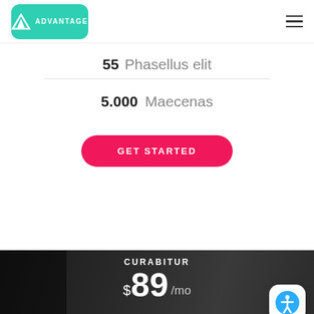[Figure (logo): Advantage logo: teal/green rounded rectangle with white mountain/triangle icon and 'ADVANTAGE' text]
55 Phasellus elit
5.000 Maecenas
GET STARTED
CURABITUR
$89 /mo